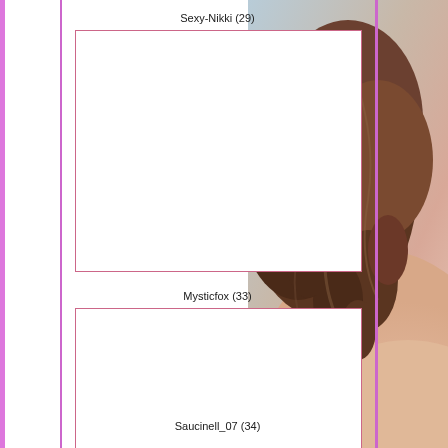Sexy-Nikki (29)
[Figure (photo): Empty white profile photo box with pink border for Sexy-Nikki]
Mysticfox (33)
[Figure (photo): Empty white profile photo box with pink border for Mysticfox]
Saucinell_07 (34)
[Figure (photo): Background photo on right side showing woman with curly brown hair from behind]